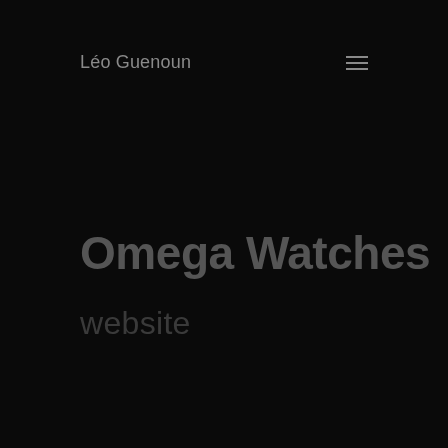Léo Guenoun
Omega Watches
website